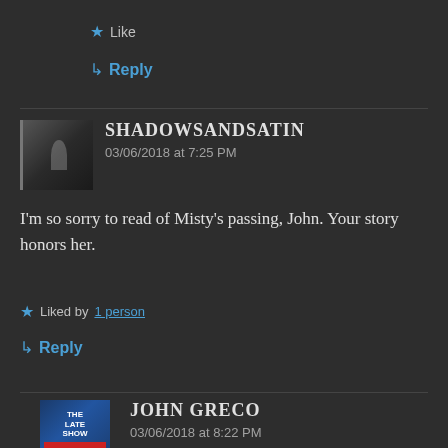★ Like
↳ Reply
SHADOWSANDSATIN
03/06/2018 at 7:25 PM
I'm so sorry to read of Misty's passing, John. Your story honors her.
★ Liked by 1 person
↳ Reply
JOHN GRECO
03/06/2018 at 8:22 PM